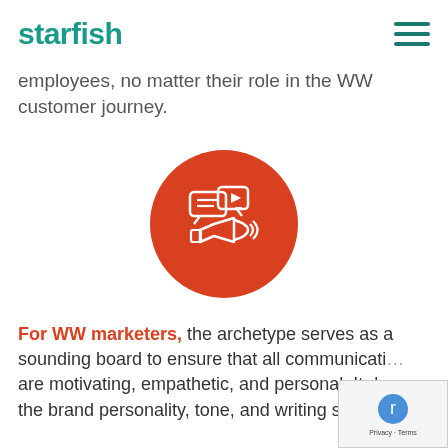starfish
employees, no matter their role in the WW customer journey.
[Figure (illustration): Orange circle icon with white line-art megaphone and speech bubbles with a play button, representing marketing communications.]
For WW marketers, the archetype serves as a sounding board to ensure that all communications are motivating, empathetic, and personal. It defines the brand personality, tone, and writing style in a way...